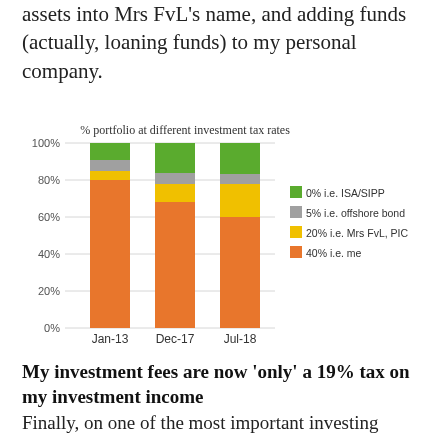assets into Mrs FvL’s name, and adding funds (actually, loaning funds) to my personal company.
[Figure (stacked-bar-chart): % portfolio at different investment tax rates]
My investment fees are now ‘only’ a 19% tax on my investment income
Finally, on one of the most important investing